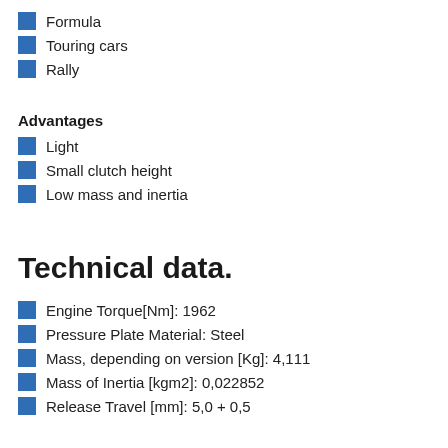Formula
Touring cars
Rally
Advantages
Light
Small clutch height
Low mass and inertia
Technical data.
Engine Torque[Nm]: 1962
Pressure Plate Material: Steel
Mass, depending on version [Kg]: 4,111
Mass of Inertia [kgm2]: 0,022852
Release Travel [mm]: 5,0 + 0,5